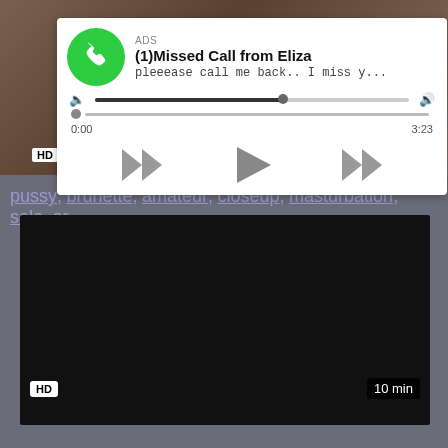[Figure (screenshot): Top video thumbnail with brownish/skin-tone background, HD badge bottom-left, duration badge hidden by ad overlay]
[Figure (screenshot): Ad overlay: white card with green phone icon, title '(1)Missed Call from Eliza', subtitle 'pleeease call me back.. I miss y...', volume slider, time 0:00 / 3:23, rewind/play/fast-forward controls]
pussy, brunette, amateur, closeup, masturbation, solo, or...
[Figure (screenshot): Bottom video thumbnail, black/dark background, HD badge bottom-left, '10 min' badge bottom-right]